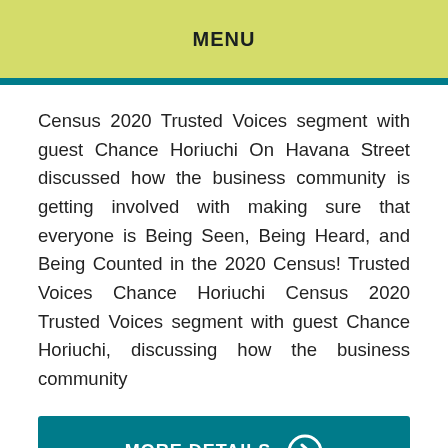MENU
Census 2020 Trusted Voices segment with guest Chance Horiuchi On Havana Street discussed how the business community is getting involved with making sure that everyone is Being Seen, Being Heard, and Being Counted in the 2020 Census! Trusted Voices Chance Horiuchi Census 2020 Trusted Voices segment with guest Chance Horiuchi, discussing how the business community
MORE DETAILS